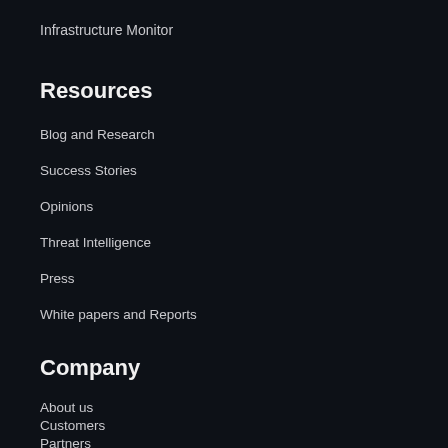Infrastructure Monitor
Resources
Blog and Research
Success Stories
Opinions
Threat Intelligence
Press
White papers and Reports
Company
About us
Customers
Partners